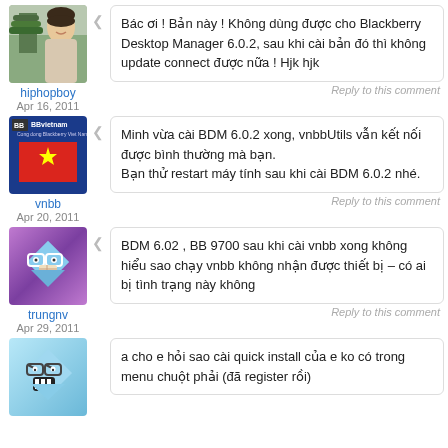[Figure (photo): Avatar of user hiphopboy - person photo]
hiphopboy
Apr 16, 2011
Bác ơi ! Bản này ! Không dùng được cho Blackberry Desktop Manager 6.0.2, sau khi cài bản đó thì không update connect được nữa ! Hjk hjk
Reply to this comment
[Figure (logo): BBvietnam logo with Vietnamese flag]
vnbb
Apr 20, 2011
Minh vừa cài BDM 6.0.2 xong, vnbbUtils vẫn kết nối được bình thường mà bạn.
Bạn thử restart máy tính sau khi cài BDM 6.0.2 nhé.
Reply to this comment
[Figure (illustration): Avatar of user trungnv - cartoon diamond robot character on purple background]
trungnv
Apr 29, 2011
BDM 6.02 , BB 9700 sau khi cài vnbb xong không hiểu sao chạy vnbb không nhận được thiết bị – có ai bị tình trạng này không
Reply to this comment
[Figure (illustration): Avatar of last commenter - cartoon blue diamond robot character]
a cho e hỏi sao cài quick install của e ko có trong menu chuột phải (đã register rồi)